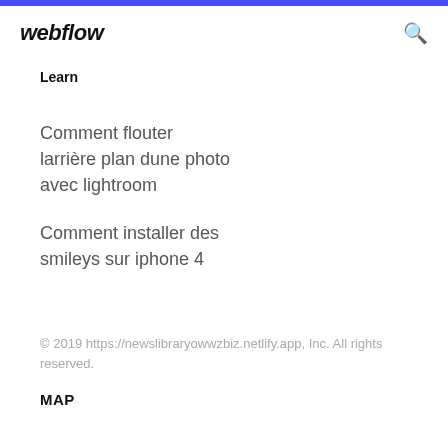webflow
Learn
Comment flouter larrière plan dune photo avec lightroom
Comment installer des smileys sur iphone 4
© 2019 https://newslibraryowwzbiz.netlify.app, Inc. All rights reserved.
MAP